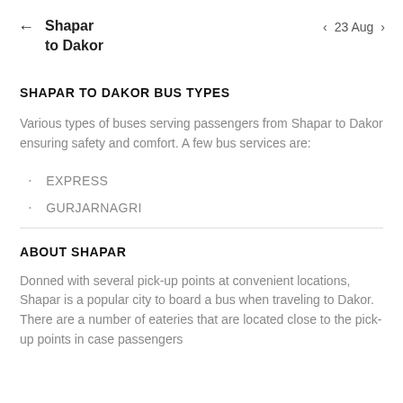Shapar to Dakor  ← | < 23 Aug >
SHAPAR TO DAKOR BUS TYPES
Various types of buses serving passengers from Shapar to Dakor ensuring safety and comfort. A few bus services are:
EXPRESS
GURJARNAGRI
ABOUT SHAPAR
Donned with several pick-up points at convenient locations, Shapar is a popular city to board a bus when traveling to Dakor. There are a number of eateries that are located close to the pick-up points in case passengers